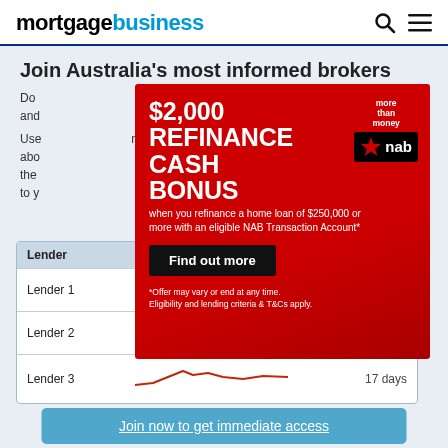mortgagebusiness
Join Australia's most informed brokers
Do [text cut off by ad] rs and [text cut off by ad]
Use [text cut off by ad] ns about [text cut off by ad] the [text cut off by ad] to y[text cut off by ad]
[Figure (infographic): NAB bank advertisement - $2,000 REFINANCE CASH BONUS when you refinance a home loan of $250,000 or more with an eligible NAB Transaction Account*. Find out more button. *Offer may vary or end at any time. Eligibility and lending criteria & T&Cs apply.]
| Lender | Time to credit decision |
| --- | --- |
| Lender 1 | 4 days |
| Lender 2 | 9 days |
| Lender 3 | 17 days |
Join now to get immediate access